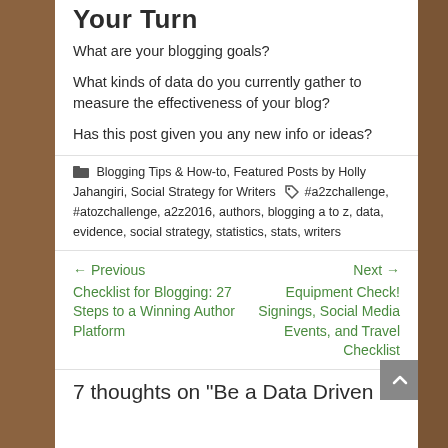Your Turn
What are your blogging goals?
What kinds of data do you currently gather to measure the effectiveness of your blog?
Has this post given you any new info or ideas?
Blogging Tips & How-to, Featured Posts by Holly Jahangiri, Social Strategy for Writers  #a2zchallenge, #atozchallenge, a2z2016, authors, blogging a to z, data, evidence, social strategy, statistics, stats, writers
← Previous Checklist for Blogging: 27 Steps to a Winning Author Platform
Next → Equipment Check! Signings, Social Media Events, and Travel Checklist
7 thoughts on “Be a Data Driven